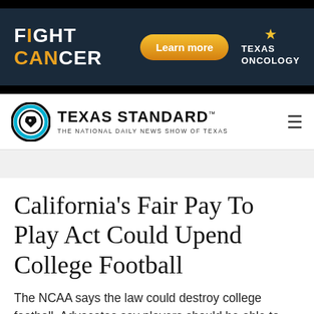[Figure (illustration): Fight Cancer advertisement banner for Texas Oncology with dark denim background, bold white text 'FIGHT CANCER' with orange highlight on 'CANCER', a gold Learn more button, and Texas Oncology logo with star]
TEXAS STANDARD™ — THE NATIONAL DAILY NEWS SHOW OF TEXAS
California's Fair Pay To Play Act Could Upend College Football
The NCAA says the law could destroy college football. Advocates say players should be able to benefit from the wealth generated by their sport.